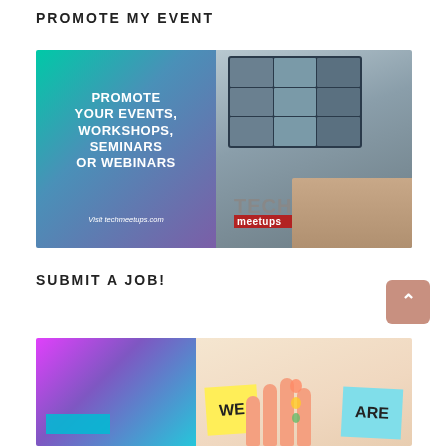PROMOTE MY EVENT
[Figure (photo): Promotional banner for techmeetups.com showing text 'Promote your events, workshops, seminars or webinars' on a teal/purple gradient background alongside a photo of a laptop with video call grid and TECH meetups logo]
SUBMIT A JOB!
[Figure (photo): Two-part image: left side shows colorful pink/purple/teal gradient background, right side shows colorful sticky notes held in hand reading WE ARE with small illustrated icons in between]